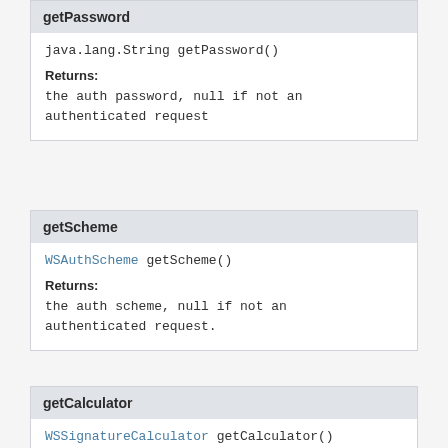getPassword
java.lang.String getPassword()
Returns:
the auth password, null if not an authenticated request
getScheme
WSAuthScheme getScheme()
Returns:
the auth scheme, null if not an authenticated request.
getCalculator
WSSignatureCalculator getCalculator()
Returns: